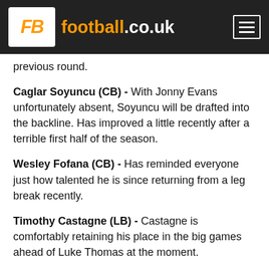FB football.co.uk
previous round.
Caglar Soyuncu (CB) - With Jonny Evans unfortunately absent, Soyuncu will be drafted into the backline. Has improved a little recently after a terrible first half of the season.
Wesley Fofana (CB) - Has reminded everyone just how talented he is since returning from a leg break recently.
Timothy Castagne (LB) - Castagne is comfortably retaining his place in the big games ahead of Luke Thomas at the moment.
Youri Tielemans (CM) - Needs to continue proving his worth in big games like this if he wants to secure his big move.